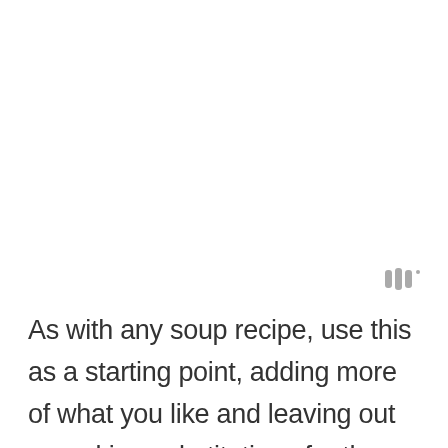[Figure (other): Small gray signal/sound wave icon consisting of three vertical bars with a dot, positioned in upper-right area of the lower half of the page]
As with any soup recipe, use this as a starting point, adding more of what you like and leaving out or making substitutions for those ingredients you're not so fond of.